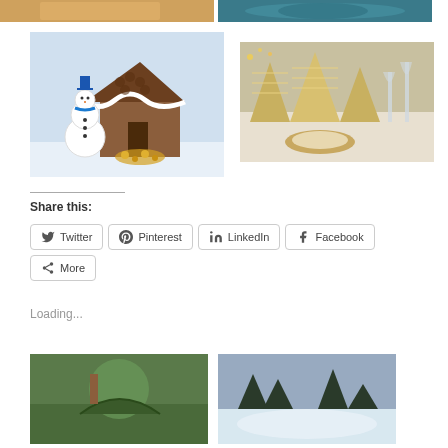[Figure (photo): Partial view of food/dish photo at top left]
[Figure (photo): Partial view of teal/blue plate photo at top right]
[Figure (photo): Gingerbread house with snowman decoration]
[Figure (photo): Christmas table setting with glittery cone trees and champagne glasses]
Share this:
Twitter
Pinterest
LinkedIn
Facebook
More
Loading...
[Figure (photo): Food/dish photo at bottom left]
[Figure (photo): Winter snowy landscape at bottom right]